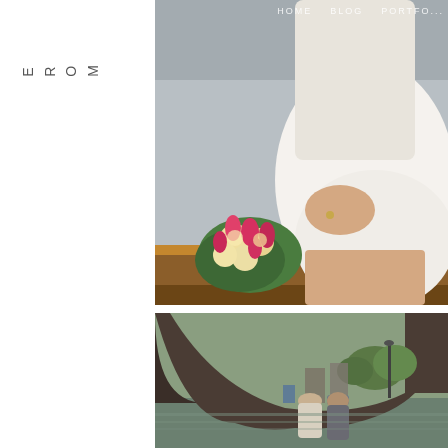HOME   BLOG   PORTF...
MORE
[Figure (photo): A bride in a white dress sitting on the wooden edge of a boat, holding a flower bouquet of roses and tulips, with a canal city backdrop. Navigation header with HOME, BLOG, PORTFO... visible at top.]
[Figure (photo): A couple standing under an arched bridge over an Amsterdam canal, seen from inside the boat. The man wears a cap and they face each other with city buildings in the background.]